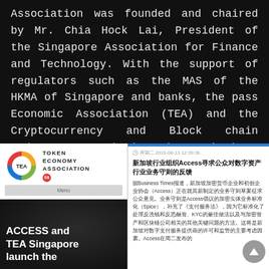Association was founded and chaired by Mr. Chia Hock Lai, President of the Singapore Association for Finance and Technology. With the support of regulators such as the MAS of the HKMA of Singapore and banks, the pass Economic Association (TEA) and the Cryptocurrency and Blockchain Industry Association (ACCESS) have launched standardized SPICE regulatory rules for encryption business entities (below).
[Figure (screenshot): Left: Token Economy Association website screenshot showing TEA logo (circular multicolor logo with 'TEA' text), 'TOKEN ECONOMY ASSOCIATION' text with SG badge, a menu bar, and dark image area with text 'ACCESS and TEA Singapore launch the'. Right: Chinese news article screenshot with blue top bar, date '星期二 2019-08-13 12:39:36', title '新加坡行业组织Access寻求公众对数字资产行业业务守则的反馈', and Chinese article body text with scroll-up button.]